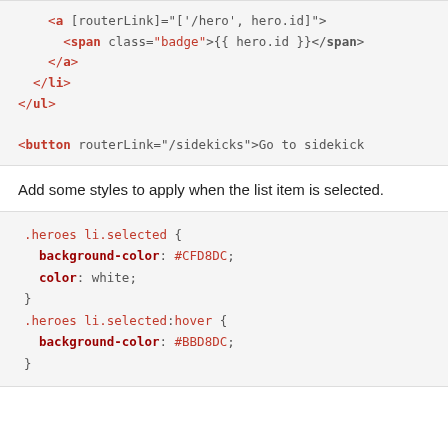[Figure (screenshot): Code block showing HTML template with anchor tag using routerLink directive, span with badge class, closing a and li tags, closing ul tag, and a button with routerLink to /sidekicks]
Add some styles to apply when the list item is selected.
[Figure (screenshot): CSS code block showing .heroes li.selected selector with background-color: #CFD8DC and color: white, and .heroes li.selected:hover selector with background-color: #BBD8DC]